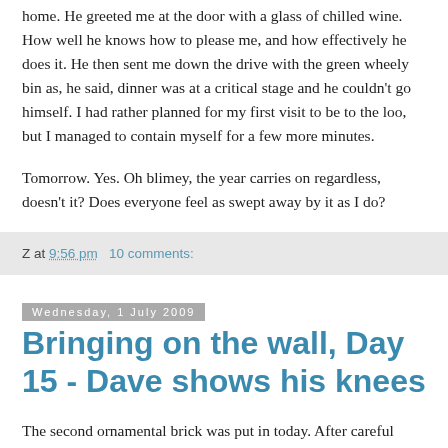home. He greeted me at the door with a glass of chilled wine. How well he knows how to please me, and how effectively he does it. He then sent me down the drive with the green wheely bin as, he said, dinner was at a critical stage and he couldn't go himself. I had rather planned for my first visit to be to the loo, but I managed to contain myself for a few more minutes.
Tomorrow. Yes. Oh blimey, the year carries on regardless, doesn't it? Does everyone feel as swept away by it as I do?
Z at 9:56 pm   10 comments:
Wednesday, 1 July 2009
Bringing on the wall, Day 15 - Dave shows his knees
The second ornamental brick was put in today. After careful measurement and experimentation, the Sage and Dave decided to put it in the same way round as the first because